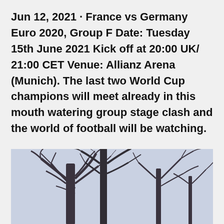Jun 12, 2021 · France vs Germany Euro 2020, Group F Date: Tuesday 15th June 2021 Kick off at 20:00 UK/ 21:00 CET Venue: Allianz Arena (Munich). The last two World Cup champions will meet already in this mouth watering group stage clash and the world of football will be watching.
[Figure (photo): Bare winter trees with dark branches silhouetted against a pale grey-blue overcast sky, viewed from below.]